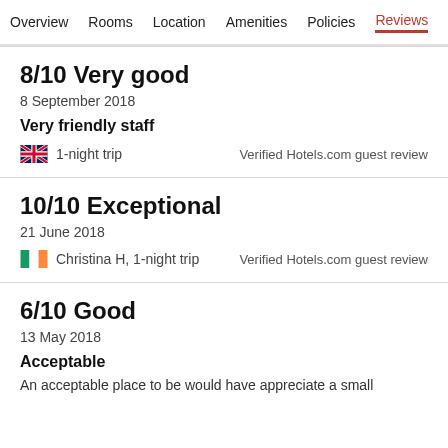Overview  Rooms  Location  Amenities  Policies  Reviews
8/10 Very good
8 September 2018
Very friendly staff
1-night trip
Verified Hotels.com guest review
10/10 Exceptional
21 June 2018
Christina H, 1-night trip
Verified Hotels.com guest review
6/10 Good
13 May 2018
Acceptable
An acceptable place to be would have appreciate a small